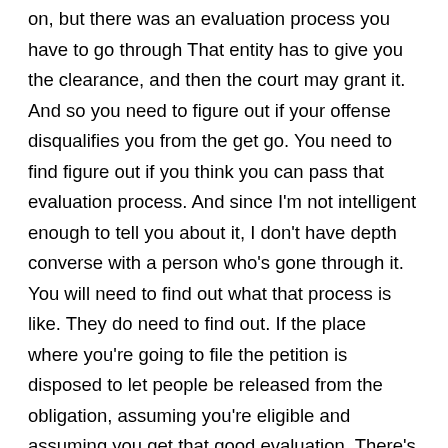on, but there was an evaluation process you have to go through That entity has to give you the clearance, and then the court may grant it. And so you need to figure out if your offense disqualifies you from the get go. You need to find figure out if you think you can pass that evaluation process. And since I'm not intelligent enough to tell you about it, I don't have depth converse with a person who's gone through it. You will need to find out what that process is like. They do need to find out. If the place where you're going to file the petition is disposed to let people be released from the obligation, assuming you're eligible and assuming you get that good evaluation. There's a lot of unknowns. So I will tell you before handing a bunch of money to an attorney, you need to talk to somebody in Texas and Texas voices